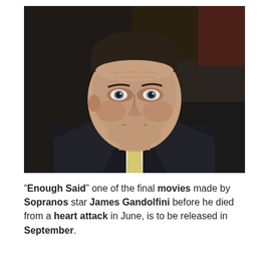[Figure (photo): Portrait photo of James Gandolfini wearing a dark suit and light yellow tie, looking slightly to the side with a neutral expression, dark blurred background]
“Enough Said” one of the final movies made by Sopranos star James Gandolfini before he died from a heart attack in June, is to be released in September.